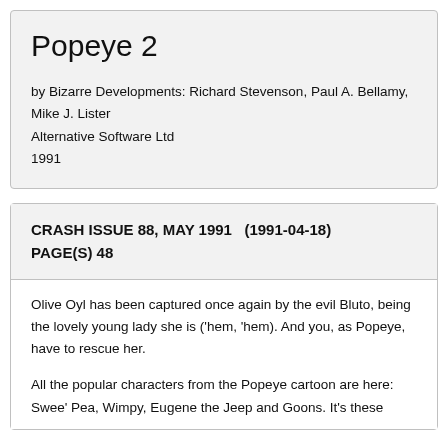Popeye 2
by Bizarre Developments: Richard Stevenson, Paul A. Bellamy, Mike J. Lister
Alternative Software Ltd
1991
CRASH ISSUE 88, MAY 1991   (1991-04-18)
PAGE(S) 48
Olive Oyl has been captured once again by the evil Bluto, being the lovely young lady she is ('hem, 'hem). And you, as Popeye, have to rescue her.

All the popular characters from the Popeye cartoon are here: Swee' Pea, Wimpy, Eugene the Jeep and Goons. It's these